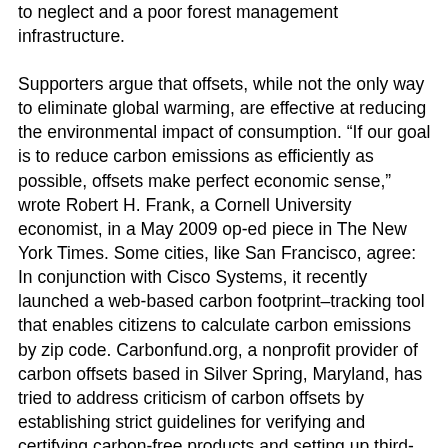to neglect and a poor forest management infrastructure.
Supporters argue that offsets, while not the only way to eliminate global warming, are effective at reducing the environmental impact of consumption. “If our goal is to reduce carbon emissions as efficiently as possible, offsets make perfect economic sense,” wrote Robert H. Frank, a Cornell University economist, in a May 2009 op-ed piece in The New York Times. Some cities, like San Francisco, agree: In conjunction with Cisco Systems, it recently launched a web-based carbon footprint–tracking tool that enables citizens to calculate carbon emissions by zip code. Carbonfund.org, a nonprofit provider of carbon offsets based in Silver Spring, Maryland, has tried to address criticism of carbon offsets by establishing strict guidelines for verifying and certifying carbon-free products and setting up third-party standards and auditing of offset projects in which it invests, including a forestation among others and energy efficiency